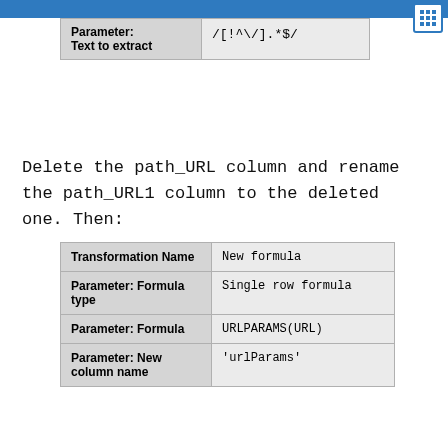| Parameter: Text to extract | /[!^\/].*$/ |
| --- | --- |
Delete the path_URL column and rename the path_URL1 column to the deleted one. Then:
| Transformation Name | New formula |
| --- | --- |
| Parameter: Formula type | Single row formula |
| Parameter: Formula | URLPARAMS(URL) |
| Parameter: New column name | 'urlParams' |